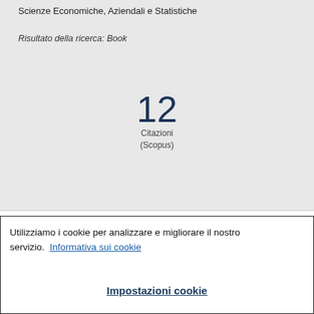Scienze Economiche, Aziendali e Statistiche
Risultato della ricerca: Book
12
Citazioni
(Scopus)
Panoramica
Utilizziamo i cookie per analizzare e migliorare il nostro servizio. Informativa sui cookie
Impostazioni cookie